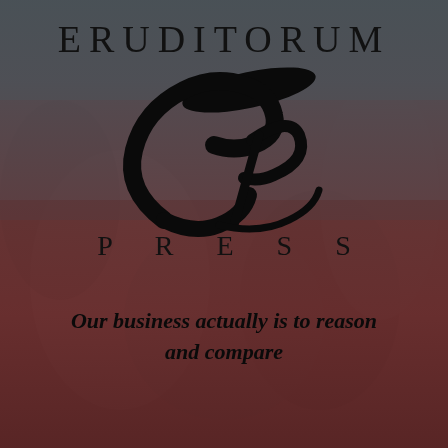ERUDITORUM
[Figure (logo): Eruditorum Press logo: stylized 'EP' monogram with a large sweeping calligraphic E and P letterforms in black, with an oval/pen-nib shape above]
P R E S S
Our business actually is to reason and compare